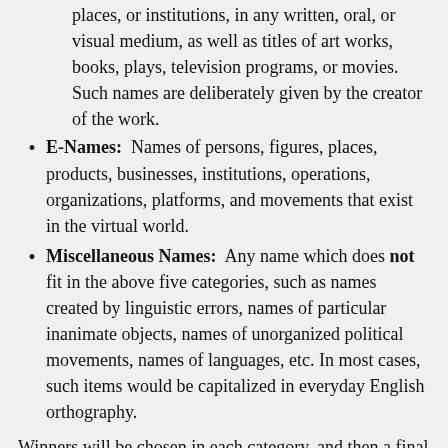places, or institutions, in any written, oral, or visual medium, as well as titles of art works, books, plays, television programs, or movies. Such names are deliberately given by the creator of the work.
E-Names: Names of persons, figures, places, products, businesses, institutions, operations, organizations, platforms, and movements that exist in the virtual world.
Miscellaneous Names: Any name which does not fit in the above five categories, such as names created by linguistic errors, names of particular inanimate objects, names of unorganized political movements, names of languages, etc. In most cases, such items would be capitalized in everyday English orthography.
Winners will be chosen in each category, and then a final vote will determine the overall Name of the Year for 2019. Anyone may nominate a name. All members of the American Name Society attending the annual meeting will select the winner from among the nominees at the annual ANS meeting in New Orleans, Louisiana on January 3, 2020. The